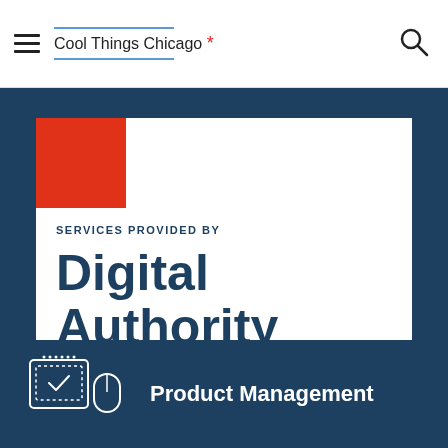Cool Things Chicago *
SERVICES PROVIDED BY
Digital Authority Partners
Product Management